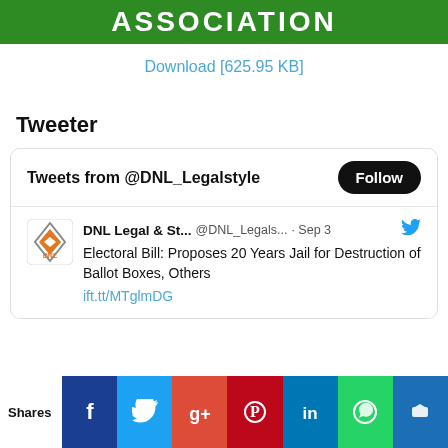[Figure (other): Green banner with text ASSOCIATION in white bold letters]
Download [625.95 KB]
Tweeter
[Figure (screenshot): Twitter widget showing Tweets from @DNL_Legalstyle with a Follow button, and a tweet from DNL Legal & St... @DNL_Legals... · Sep 3: Electoral Bill: Proposes 20 Years Jail for Destruction of Ballot Boxes, Others ift.tt/MTglmDG]
Shares
[Figure (infographic): Social share bar with icons for Facebook, Twitter, Google+, Pinterest, LinkedIn, WhatsApp, and another platform]